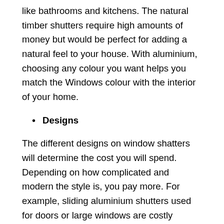like bathrooms and kitchens. The natural timber shutters require high amounts of money but would be perfect for adding a natural feel to your house. With aluminium, choosing any colour you want helps you match the Windows colour with the interior of your home.
Designs
The different designs on window shatters will determine the cost you will spend. Depending on how complicated and modern the style is, you pay more. For example, sliding aluminium shutters used for doors or large windows are costly because they make spaces look beautiful, allow sufficient light, and give your home a luxurious feeling.
For fixed shutters, they are the simplest to install,